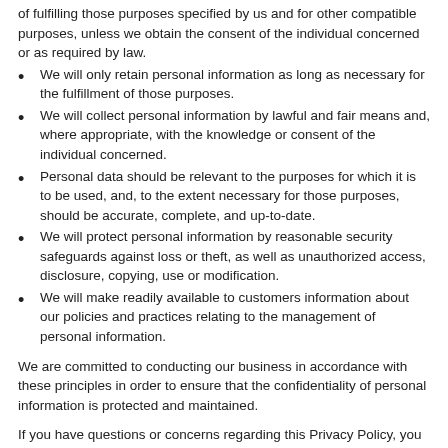of fulfilling those purposes specified by us and for other compatible purposes, unless we obtain the consent of the individual concerned or as required by law.
We will only retain personal information as long as necessary for the fulfillment of those purposes.
We will collect personal information by lawful and fair means and, where appropriate, with the knowledge or consent of the individual concerned.
Personal data should be relevant to the purposes for which it is to be used, and, to the extent necessary for those purposes, should be accurate, complete, and up-to-date.
We will protect personal information by reasonable security safeguards against loss or theft, as well as unauthorized access, disclosure, copying, use or modification.
We will make readily available to customers information about our policies and practices relating to the management of personal information.
We are committed to conducting our business in accordance with these principles in order to ensure that the confidentiality of personal information is protected and maintained.
If you have questions or concerns regarding this Privacy Policy, you should first contact Doodle Kisses LLC by emailing us at: admin@doodlekisses.com
For each visitor to the www.doodlekisses.com site, Doodle Kisses LLC's servers automatically collect information about which pages are visited and the IP address or domain name of visitors. We use your IP address to help diagnose problems with our server, and to administer our Web